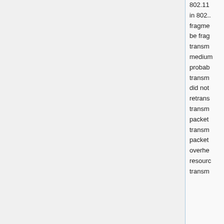802.11... in 802.... fragme... be frag... transm... medium... probab... transm... did not retrans... transm... packet transm... packet overhe... resourc... transm...
| Parameter | Description |
| --- | --- |
| hw-protection-mode (cts-to-self | none | rts-cts; Default: none) | Frame propert... |
| hw-protection-threshold (integer [0..65535]; Default: 0) | Frame propert... |
| hw-retries (integer [0..15]; Default: | Number... |